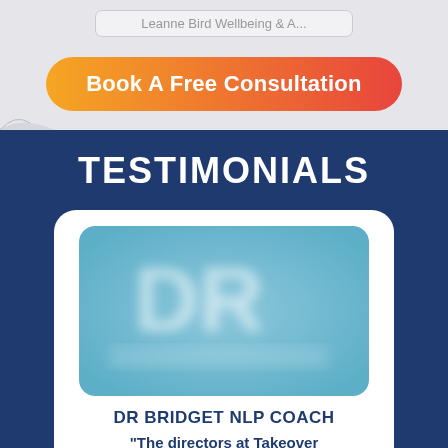Leanne Bird Wellbeing & A...
Book A Free Consultation
TESTIMONIALS
[Figure (photo): Blurred logo/image with teal/blue gradient background showing letters DR inside a rounded rectangle card]
DR BRIDGET NLP COACH
"The directors at Takeover Marketing have been very